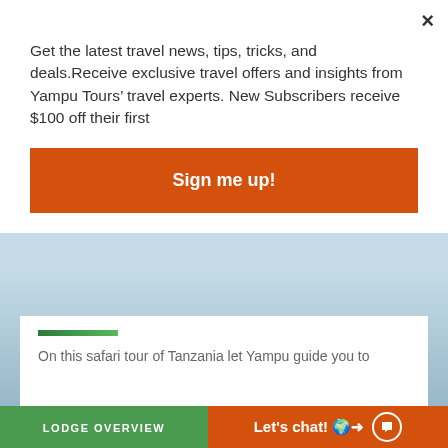Get the latest travel news, tips, tricks, and deals.Receive exclusive travel offers and insights from Yampu Tours’ travel experts. New Subscribers receive $100 off their first
Sign me up!
On this safari tour of Tanzania let Yampu guide you to several of the popular National Parks and Conservation areas …
Interests: SAFARI, WILDLIFE & BIRDING
Trip Duration: 11 days
LODGE OVERVIEW
Let's chat!